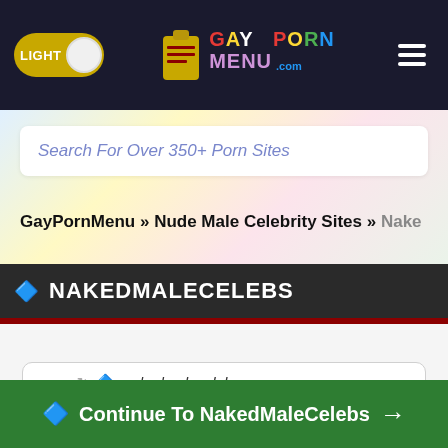LIGHT | GAY PORN MENU .com
Search For Over 350+ Porn Sites
GayPornMenu » Nude Male Celebrity Sites » Naked...
NAKEDMALECELEBS
Click Here to Visit Website
nakedmalecelebs.com
Continue To NakedMaleCelebs →